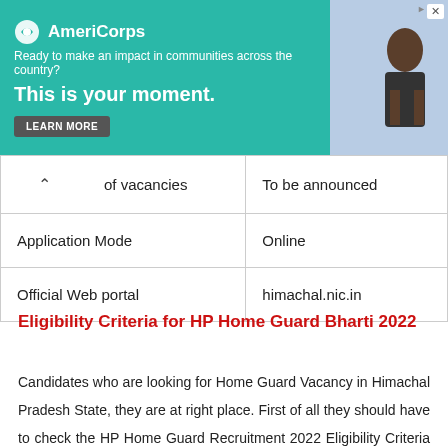[Figure (other): AmeriCorps advertisement banner with teal background, logo, text 'Ready to make an impact in communities across the country? This is your moment.' and LEARN MORE button, with photo of person on right side.]
| of vacancies | To be announced |
| Application Mode | Online |
| Official Web portal | himachal.nic.in |
Eligibility Criteria for HP Home Guard Bharti 2022
Candidates who are looking for Home Guard Vacancy in Himachal Pradesh State, they are at right place. First of all they should have to check the HP Home Guard Recruitment 2022 Eligibility Criteria details at below: